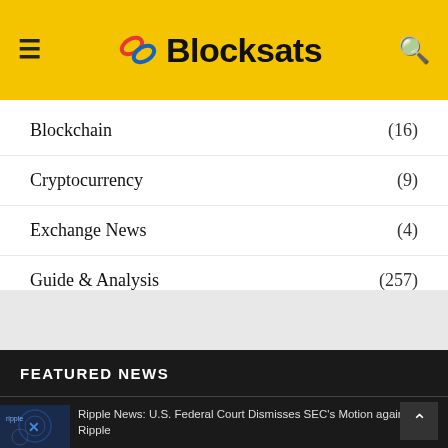Blocksats
Blockchain (16)
Cryptocurrency (9)
Exchange News (4)
Guide & Analysis (257)
FEATURED NEWS
Ripple News: U.S. Federal Court Dismisses SEC's Motion against Ripple